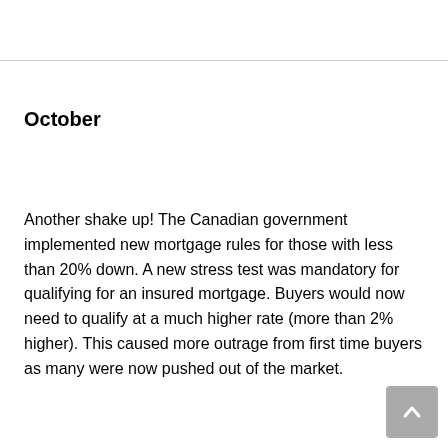October
Another shake up!  The Canadian government implemented new mortgage rules for those with less than 20% down.  A new stress test was mandatory for qualifying for an insured mortgage.  Buyers would now need to qualify at a much higher rate (more than 2% higher).  This caused more outrage from first time buyers as many were now pushed out of the market.